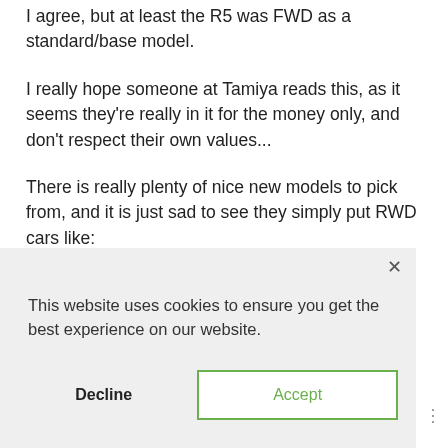I agree, but at least the R5 was FWD as a standard/base model.
I really hope someone at Tamiya reads this, as it seems they're really in it for the money only, and don't respect their own values...
There is really plenty of nice new models to pick from, and it is just sad to see they simply put RWD cars like:
----
This website uses cookies to ensure you get the best experience on our website.
Decline
Accept